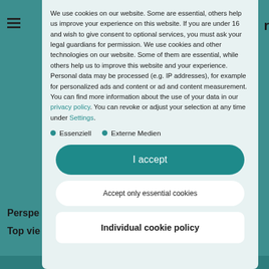[Figure (screenshot): Website screenshot background showing hamburger menu icon on left, partial letter 'r' on right edge, and partial bold text 'Perspe' and 'Top vie' at bottom left, with teal/dark teal background colors.]
We use cookies on our website. Some are essential, others help us improve your experience on this website. If you are under 16 and wish to give consent to optional services, you must ask your legal guardians for permission. We use cookies and other technologies on our website. Some of them are essential, while others help us to improve this website and your experience. Personal data may be processed (e.g. IP addresses), for example for personalized ads and content or ad and content measurement. You can find more information about the use of your data in our privacy policy. You can revoke or adjust your selection at any time under Settings.
Essenziell
Externe Medien
I accept
Accept only essential cookies
Individual cookie policy